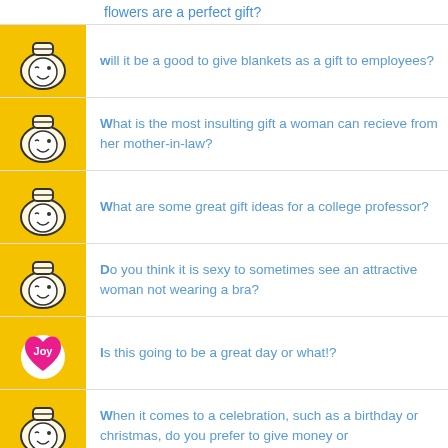flowers are a perfect gift?
will it be a good to give blankets as a gift to employees?
What is the most insulting gift a woman can recieve from her mother-in-law?
What are some great gift ideas for a college professor?
Do you think it is sexy to sometimes see an attractive woman not wearing a bra?
Is this going to be a great day or what!?
When it comes to a celebration, such as a birthday or christmas, do you prefer to give money or